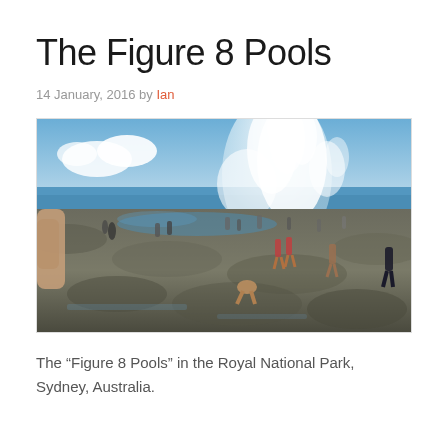The Figure 8 Pools
14 January, 2016 by Ian
[Figure (photo): Photograph of people on rocky coastal platform at Figure 8 Pools, Royal National Park, Sydney, Australia. A massive white wave crashes in the background, and people are running or standing on the flat wet rocks. The sky is partly cloudy. The scene is wide-angle and dynamic.]
The “Figure 8 Pools” in the Royal National Park, Sydney, Australia.